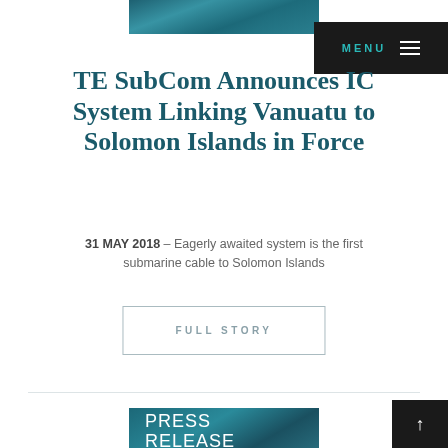[Figure (photo): Hero banner image of submarine cable with teal/dark ocean theme at top of page]
TE SubCom Announces IC System Linking Vanuatu to Solomon Islands in Force
31 MAY 2018 – Eagerly awaited system is the first submarine cable to Solomon Islands
FULL STORY
[Figure (photo): Press Release image with underwater cable photography and text overlay reading PRESS RELEASE]